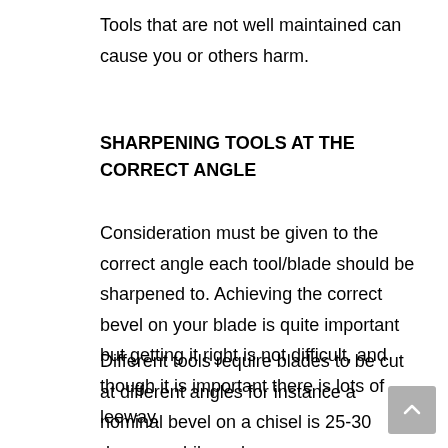Tools that are not well maintained can cause you or others harm.
SHARPENING TOOLS AT THE CORRECT ANGLE
Consideration must be given to the correct angle each tool/blade should be sharpened to. Achieving the correct bevel on your blade is quite important but getting it right is not difficult, and though it is important there is lots of leeway.
Different tools require blades to be cut at different angles for instance a nominal bevel on a chisel is 25-30 degrees while a plane